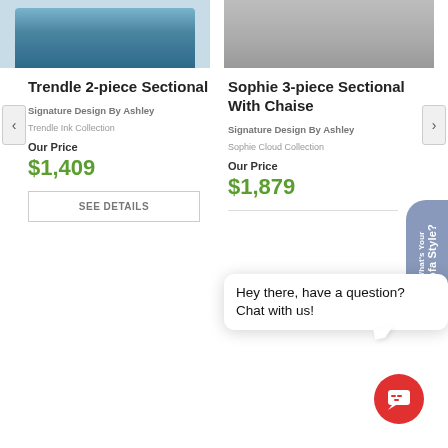[Figure (photo): Top portion of a teal/navy sectional sofa product photo]
[Figure (photo): Top portion of a light grey sectional sofa with chaise product photo]
Trendle 2-piece Sectional
Signature Design By Ashley
Trendle Ink Collection
Our Price
$1,409
SEE DETAILS
Sophie 3-piece Sectional With Chaise
Signature Design By Ashley
Sophie Cloud Collection
Our Price
$1,879
Hey there, have a question? Chat with us!